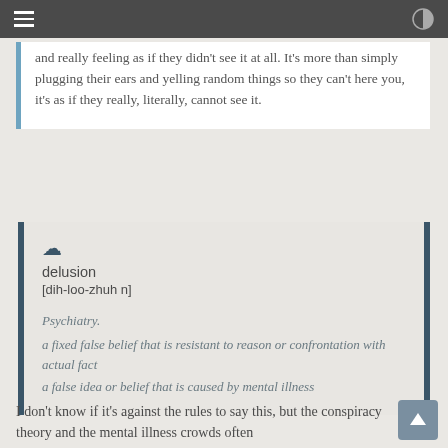[navigation bar with menu and brightness icons]
and really feeling as if they didn't see it at all. It's more than simply plugging their ears and yelling random things so they can't here you, it's as if they really, literally, cannot see it.
delusion
[dih-loo-zhuh n]

Psychiatry.
a fixed false belief that is resistant to reason or confrontation with actual fact
a false idea or belief that is caused by mental illness
I don't know if it's against the rules to say this, but the conspiracy theory and the mental illness crowds often